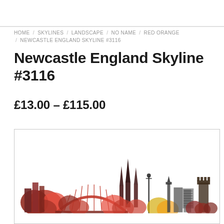HOME / SKYLINES / LANDSCAPE / NO NAME / RED ORANGE / NEWCASTLE ENGLAND SKYLINE #3116
Newcastle England Skyline #3116
£13.00 – £115.00
[Figure (illustration): Watercolour illustration of the Newcastle England skyline featuring the Tyne Bridge, cathedral spires, and other city landmarks in red, orange, and warm autumn tones against a white background.]